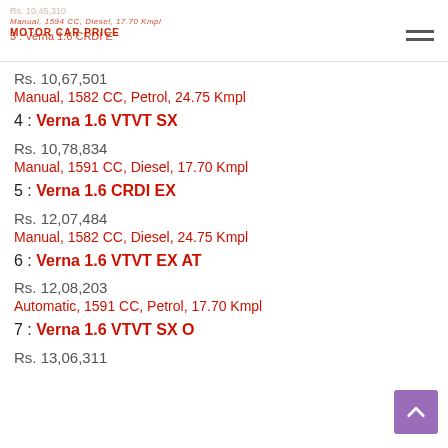Motor Car Price — header with logo and navigation
Rs. 10,67,501
Manual, 1582 CC, Petrol, 24.75 Kmpl
4 : Verna 1.6 VTVT SX
Rs. 10,78,834
Manual, 1591 CC, Diesel, 17.70 Kmpl
5 : Verna 1.6 CRDI EX
Rs. 12,07,484
Manual, 1582 CC, Diesel, 24.75 Kmpl
6 : Verna 1.6 VTVT EX AT
Rs. 12,08,203
Automatic, 1591 CC, Petrol, 17.70 Kmpl
7 : Verna 1.6 VTVT SX O
Rs. 13,06,311